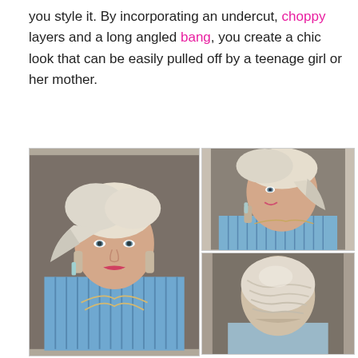you style it. By incorporating an undercut, choppy layers and a long angled bang, you create a chic look that can be easily pulled off by a teenage girl or her mother.
[Figure (photo): Three views of a woman with a platinum blonde pixie cut with choppy layers, undercut, and long angled bangs. Left: front-facing portrait. Top right: side/three-quarter view. Bottom right: back view showing the cut.]